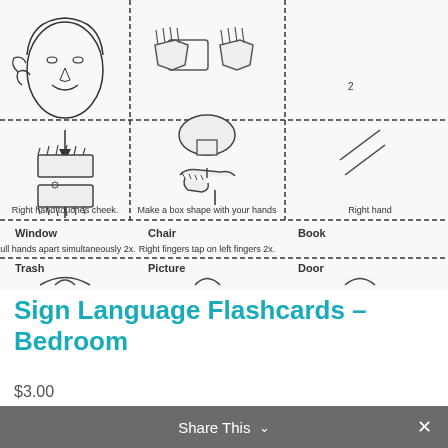[Figure (illustration): Sign language flashcard grid showing hand sign illustrations with labels: Window (Pull hands apart simultaneously 2x), Chair (Right fingers tap on left fingers 2x), Book (partially visible), Trash (partially visible), Picture (partially visible), Door (partially visible). Also partial top row cards with text: Right hand touches cheek, Make a box shape with your hands, Right hand (partial). Cards labeled signbabysign.org on sides.]
Sign Language Flashcards – Bedroom
$3.00
Add to cart
Share This ∨   ✕